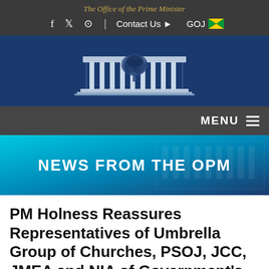The Office of the Prime Minister
f  y  ©  |  Contact Us ▶  GOJ 🇯🇲
[Figure (logo): Office of the Prime Minister of Jamaica official building logo/crest in dark blue and white]
MENU ≡
NEWS FROM THE OPM
PM Holness Reassures Representatives of Umbrella Group of Churches, PSOJ, JCC, JMEA and NIA of Government's Commitment to Accountability and Anti-Corruption